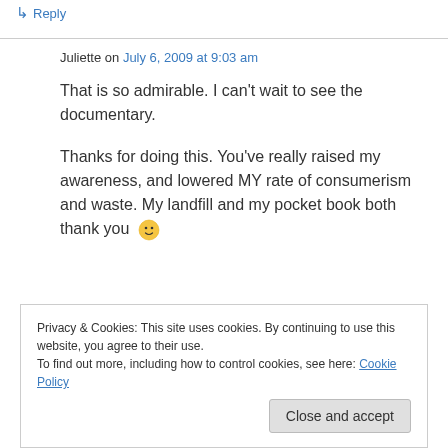↳ Reply
Juliette on July 6, 2009 at 9:03 am
That is so admirable. I can't wait to see the documentary.
Thanks for doing this. You've really raised my awareness, and lowered MY rate of consumerism and waste. My landfill and my pocket book both thank you 🙂
Privacy & Cookies: This site uses cookies. By continuing to use this website, you agree to their use.
To find out more, including how to control cookies, see here: Cookie Policy
Close and accept